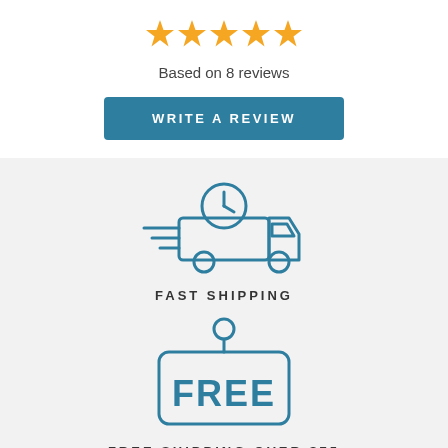[Figure (illustration): Five yellow star rating icons]
Based on 8 reviews
WRITE A REVIEW
[Figure (illustration): Fast shipping truck icon with clock, drawn in teal outline style]
FAST SHIPPING
[Figure (illustration): Free tag/sign icon with FREE text, drawn in teal outline style]
FREE SHIPPING OVER $75